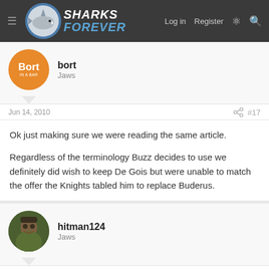SHARKS FOREVER — Log in  Register
bort
Jaws
Jun 14, 2010  #17
Ok just making sure we were reading the same article.

Regardless of the terminology Buzz decides to use we definitely did wish to keep De Gois but were unable to match the offer the Knights tabled him to replace Buderus.
hitman124
Jaws
Jun 14, 2010  #18
I believe the sharks are a victim of circumstance, losing bird,